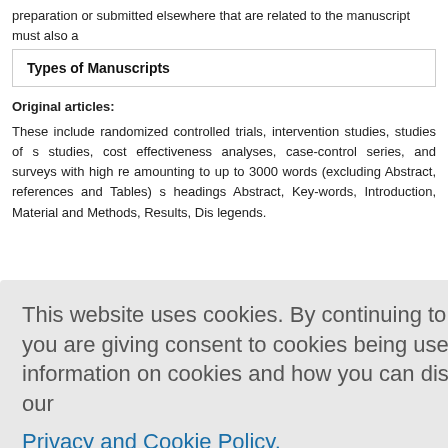preparation or submitted elsewhere that are related to the manuscript must also a
Types of Manuscripts
Original articles:
These include randomized controlled trials, intervention studies, studies of s studies, cost effectiveness analyses, case-control series, and surveys with high re amounting to up to 3000 words (excluding Abstract, references and Tables) s headings Abstract, Key-words, Introduction, Material and Methods, Results, Dis legends.
This website uses cookies. By continuing to use this website you are giving consent to cookies being used. For information on cookies and how you can disable them visit our
Privacy and Cookie Policy.
AGREE & PROCEED
study or obs spects: he procedur tation (insti w.wma.net/p or prospecti al/ institutio ipants and c ld be requi m mentionin ts on anima
national research council's guide for, or any national law on the care and use of la